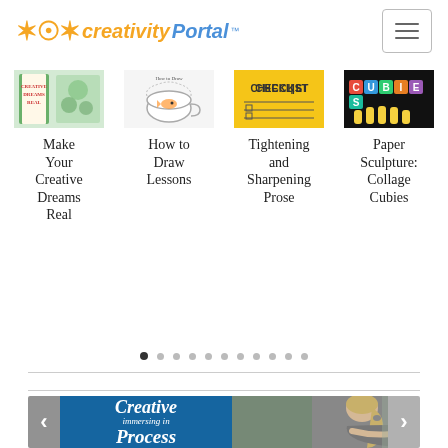Creativity Portal
[Figure (screenshot): Carousel of four content cards: 'Make Your Creative Dreams Real', 'How to Draw Lessons', 'Tightening and Sharpening Prose', 'Paper Sculpture: Collage Cubies' with thumbnail images and pagination dots]
Make Your Creative Dreams Real
How to Draw Lessons
Tightening and Sharpening Prose
Paper Sculpture: Collage Cubies
[Figure (screenshot): Bottom banner showing 'Creative immersing in Process' with navigation arrows, blue background on left and photo of person on right]